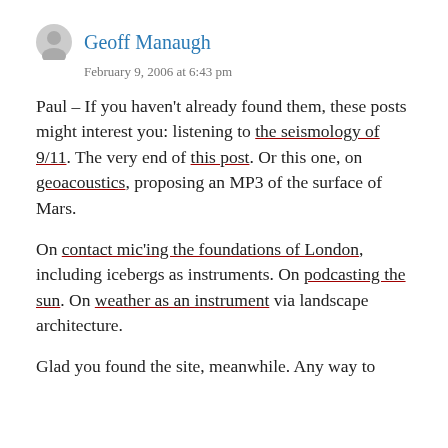Geoff Manaugh
February 9, 2006 at 6:43 pm
Paul – If you haven't already found them, these posts might interest you: listening to the seismology of 9/11. The very end of this post. Or this one, on geoacoustics, proposing an MP3 of the surface of Mars.
On contact mic'ing the foundations of London, including icebergs as instruments. On podcasting the sun. On weather as an instrument via landscape architecture.
Glad you found the site, meanwhile. Any way to